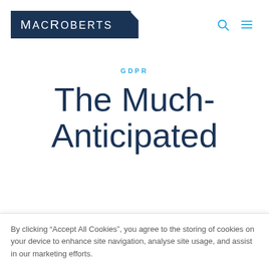MacRoberts
GDPR
The Much-Anticipated
By clicking “Accept All Cookies”, you agree to the storing of cookies on your device to enhance site navigation, analyse site usage, and assist in our marketing efforts.